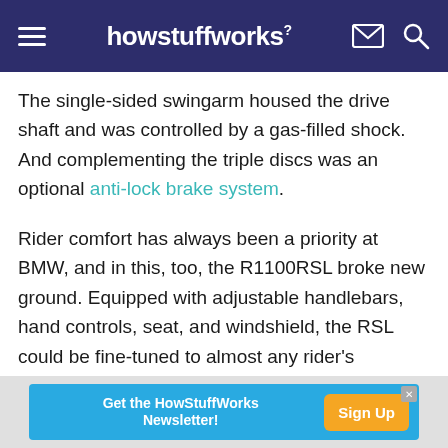howstuffworks
The single-sided swingarm housed the drive shaft and was controlled by a gas-filled shock. And complementing the triple discs was an optional anti-lock brake system.
Rider comfort has always been a priority at BMW, and in this, too, the R1100RSL broke new ground. Equipped with adjustable handlebars, hand controls, seat, and windshield, the RSL could be fine-tuned to almost any rider's personal tastes.
Get the HowStuffWorks Newsletter! Sign Up